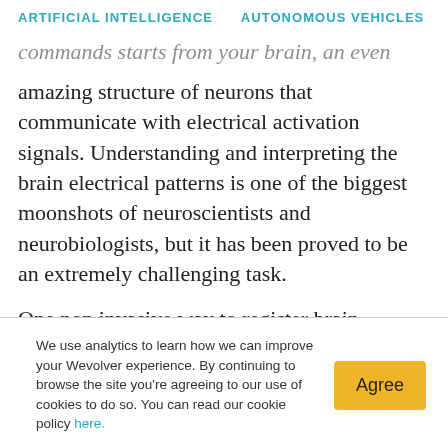ARTIFICIAL INTELLIGENCE   AUTONOMOUS VEHICLES   RO
commands starts from your brain, an even more amazing structure of neurons that communicate with electrical activation signals. Understanding and interpreting the brain electrical patterns is one of the biggest moonshots of neuroscientists and neurobiologists, but it has been proved to be an extremely challenging task.
One non invasive way to register brain activity is electroencephalography (EEG). This is a
We use analytics to learn how we can improve your Wevolver experience. By continuing to browse the site you're agreeing to our use of cookies to do so. You can read our cookie policy here.